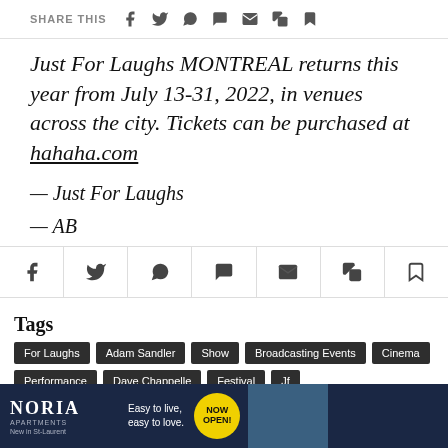SHARE THIS
Just For Laughs MONTREAL returns this year from July 13-31, 2022, in venues across the city. Tickets can be purchased at hahaha.com
— Just For Laughs
— AB
Share bar with icons
Tags: For Laughs, Adam Sandler, Show, Broadcasting Events, Cinema, Performance, Dave Chappelle, Festival, Jf
[Figure (other): NORIA Apartments advertisement banner: Easy to live, easy to love. NOW OPEN! New in St-Laurent.]